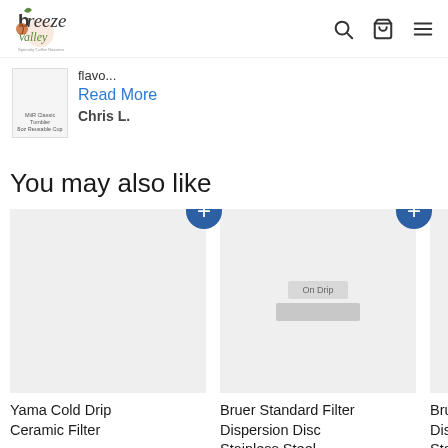Breeze Valley Specialty Coffee Roasters
flavo... Read More Chris L.
You may also like
[Figure (photo): Product card: Yama Cold Drip Ceramic Filter with add button]
Yama Cold Drip Ceramic Filter
[Figure (photo): Product card: Bruer Standard Filter Dispersion Disc Stainless Steel with On Drip badge and add button]
Bruer Standard Filter Dispersion Disc Stainless Steel
[Figure (photo): Partial product card: Bruer Dispersion Disc Stainless Steel]
Bruer Dispe... Stainl...